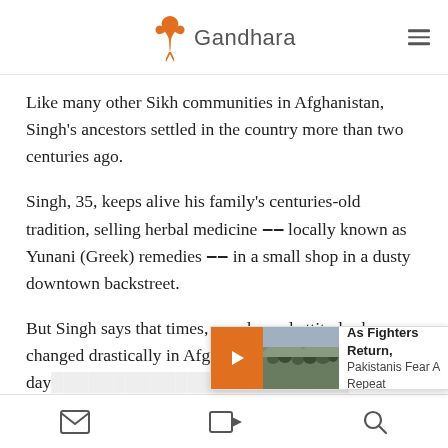Gandhara
Like many other Sikh communities in Afghanistan, Singh's ancestors settled in the country more than two centuries ago.
Singh, 35, keeps alive his family's centuries-old tradition, selling herbal medicine -- locally known as Yunani (Greek) remedies -- in a small shop in a dusty downtown backstreet.
But Singh says that times, people, and attitudes have changed drastically in Afghanistan since his ancestors' day... have become i...
As Fighters Return, Pakistanis Fear A Repeat
navigation icons: mail, video, search